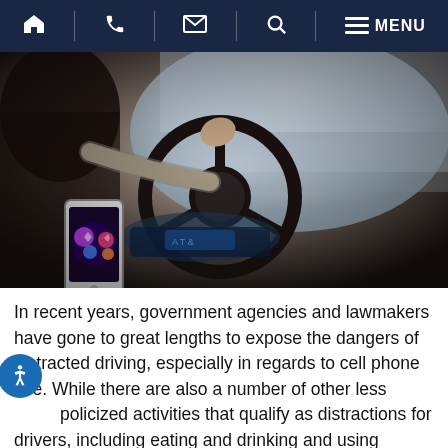Navigation bar with home, phone, email, search, menu icons
[Figure (photo): Person driving a car while holding a smartphone in one hand and steering wheel with the other hand]
In recent years, government agencies and lawmakers have gone to great lengths to expose the dangers of distracted driving, especially in regards to cell phone use. While there are also a number of other less publicized activities that qualify as distractions for drivers, including eating and drinking and using onboard electronics, few activities have proven to be